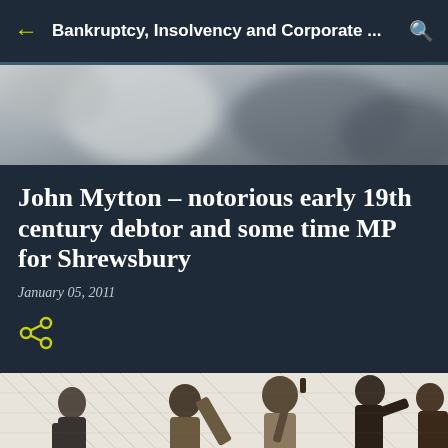Bankruptcy, Insolvency and Corporate ...
John Mytton – notorious early 19th century debtor and some time MP for Shrewsbury
January 05, 2011
[Figure (illustration): Historical black and white engraving showing several figures in early 19th century dress, partially cropped at the bottom of the page]